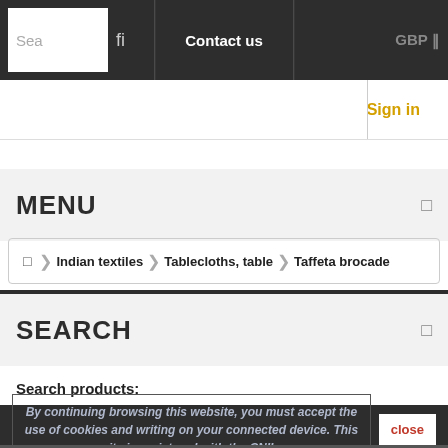Search | fi | Contact us | GBP
Sign in
MENU
Indian textiles > Tablecloths, table > Taffeta brocade
SEARCH
Search products:
By continuing browsing this website, you must accept the use of cookies and writing on your connected device. This site is registered with the CNIL.